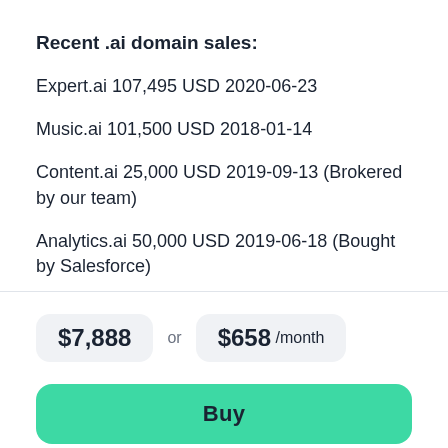Recent .ai domain sales:
Expert.ai 107,495 USD 2020-06-23
Music.ai 101,500 USD 2018-01-14
Content.ai 25,000 USD 2019-09-13 (Brokered by our team)
Analytics.ai 50,000 USD 2019-06-18 (Bought by Salesforce)
$7,888 or $658 /month
Buy